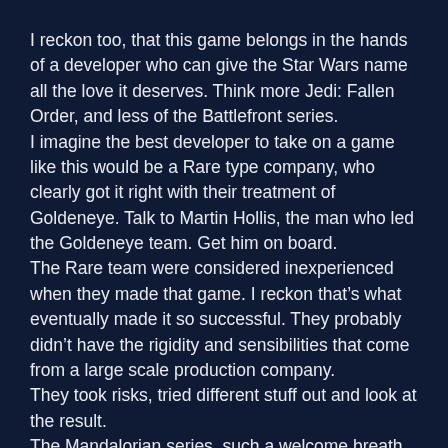I reckon too, that this game belongs in the hands of a developer who can give the Star Wars name all the love it deserves. Think more Jedi: Fallen Order, and less of the Battlefront series.
I imagine the best developer to take on a game like this would be a Rare type company, who clearly got it right with their treatment of Goldeneye. Talk to Martin Hollis, the man who led the Goldeneye team. Get him on board.
The Rare team were considered inexperienced when they made that game. I reckon that’s what eventually made it so successful. They probably didn’t have the rigidity and sensibilities that come from a large scale production company.
They took risks, tried different stuff out and look at the result.
The Mandalorian series, such a welcome breath of fresh air for